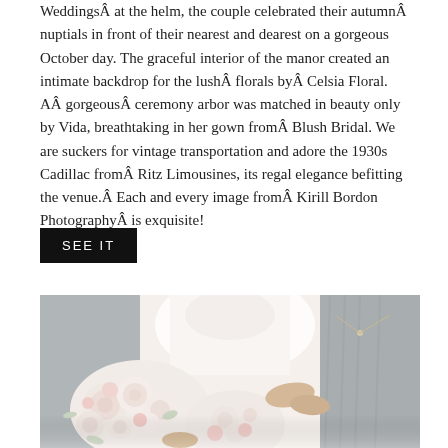WeddingsÂ at the helm, the couple celebrated their autumnÂ nuptials in front of their nearest and dearest on a gorgeous October day. The graceful interior of the manor created an intimate backdrop for the lushÂ florals byÂ Celsia Floral. AÂ gorgeousÂ ceremony arbor was matched in beauty only by Vida, breathtaking in her gown fromÂ Blush Bridal. We are suckers for vintage transportation and adore the 1930s Cadillac fromÂ Ritz Limousines, its regal elegance befitting the venue.Â Each and every image fromÂ Kirill Bordon PhotographyÂ is exquisite!
SEE IT
[Figure (photo): Wedding photo showing bride in white lace gown holding large white and blush floral bouquet, flanked by bridesmaids in grey dresses, close-up torso shot]